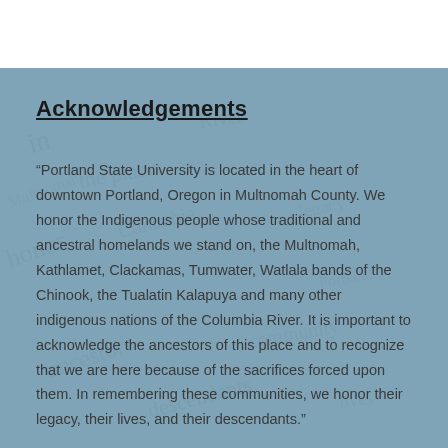Acknowledgements
“Portland State University is located in the heart of downtown Portland, Oregon in Multnomah County. We honor the Indigenous people whose traditional and ancestral homelands we stand on, the Multnomah, Kathlamet, Clackamas, Tumwater, Watlala bands of the Chinook, the Tualatin Kalapuya and many other indigenous nations of the Columbia River. It is important to acknowledge the ancestors of this place and to recognize that we are here because of the sacrifices forced upon them. In remembering these communities, we honor their legacy, their lives, and their descendants.”